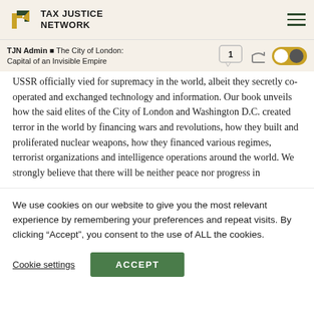TAX JUSTICE NETWORK
TJN Admin ■ The City of London: Capital of an Invisible Empire
USSR officially vied for supremacy in the world, albeit they secretly co-operated and exchanged technology and information. Our book unveils how the said elites of the City of London and Washington D.C. created terror in the world by financing wars and revolutions, how they built and proliferated nuclear weapons, how they financed various regimes, terrorist organizations and intelligence operations around the world. We strongly believe that there will be neither peace nor progress in
We use cookies on our website to give you the most relevant experience by remembering your preferences and repeat visits. By clicking “Accept”, you consent to the use of ALL the cookies.
Cookie settings   ACCEPT